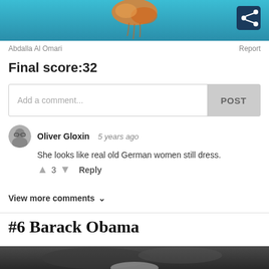[Figure (photo): Top portion of a jellyfish photo with blue/teal water background and a dark share button icon in the top right corner]
Abdalla Al Omari
Report
Final score:32
Add a comment...
POST
Oliver Gloxin  5 years ago
She looks like real old German women still dress.
3  Reply
View more comments ∨
#6 Barack Obama
[Figure (photo): Bottom portion of page showing a dark, smoky or blurry animal/fur photo, partially visible]